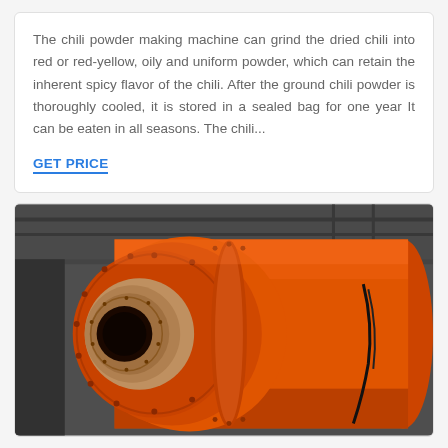The chili powder making machine can grind the dried chili into red or red-yellow, oily and uniform powder, which can retain the inherent spicy flavor of the chili. After the ground chili powder is thoroughly cooled, it is stored in a sealed bag for one year It can be eaten in all seasons. The chili...
GET PRICE
[Figure (photo): Close-up photo of a large orange industrial ball mill machine in a factory/warehouse setting. The machine shows a cylindrical drum with bolted flanges, a conical end cap with a circular opening/trunnion. The machine is bright orange, photographed from an angle showing the front end. Industrial warehouse ceiling and structure visible in background.]